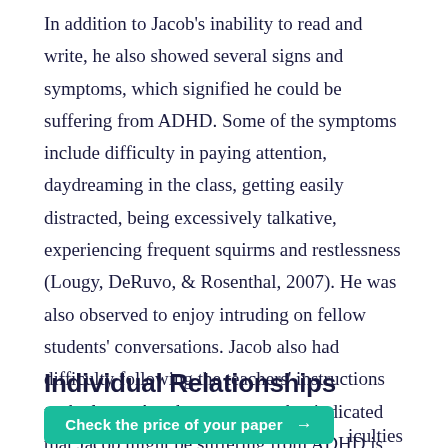In addition to Jacob's inability to read and write, he also showed several signs and symptoms, which signified he could be suffering from ADHD. Some of the symptoms include difficulty in paying attention, daydreaming in the class, getting easily distracted, being excessively talkative, experiencing frequent squirms and restlessness (Lougy, DeRuvo, & Rosenthal, 2007). He was also observed to enjoy intruding on fellow students' conversations. Jacob also had difficulty following the teachers' instructions to the letter. Another symptom that indicated that Jacob might be suffering from ADHD is his inability to sit patiently.
Individual Relationships
...iculties associating